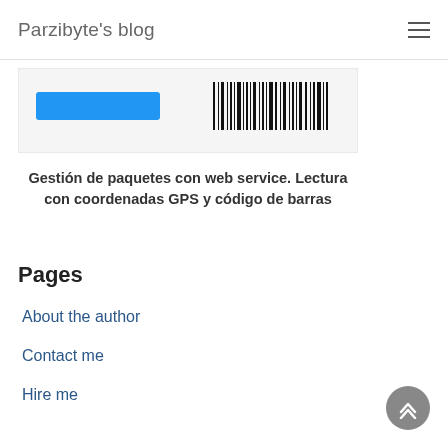Parzibyte's blog
[Figure (screenshot): Screenshot showing a blue button and a barcode on a light gray card background]
Gestión de paquetes con web service. Lectura con coordenadas GPS y código de barras
Pages
About the author
Contact me
Hire me